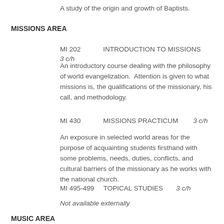A study of the origin and growth of Baptists.
MISSIONS AREA
MI 202    INTRODUCTION TO MISSIONS    3 c/h
An introductory course dealing with the philosophy of world evangelization.  Attention is given to what missions is, the qualifications of the missionary, his call, and methodology.
MI 430    MISSIONS PRACTICUM    3 c/h
An exposure in selected world areas for the purpose of acquainting students firsthand with some problems, needs, duties, conflicts, and cultural barriers of the missionary as he works with the national church.
MI 495-499    TOPICAL STUDIES    3 c/h
Not available externally
MUSIC AREA